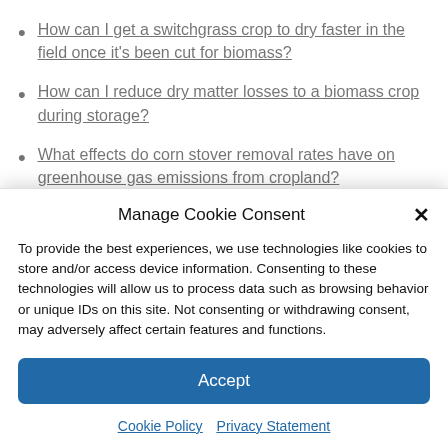How can I get a switchgrass crop to dry faster in the field once it's been cut for biomass?
How can I reduce dry matter losses to a biomass crop during storage?
What effects do corn stover removal rates have on greenhouse gas emissions from cropland?
Manage Cookie Consent
To provide the best experiences, we use technologies like cookies to store and/or access device information. Consenting to these technologies will allow us to process data such as browsing behavior or unique IDs on this site. Not consenting or withdrawing consent, may adversely affect certain features and functions.
Accept
Cookie Policy  Privacy Statement